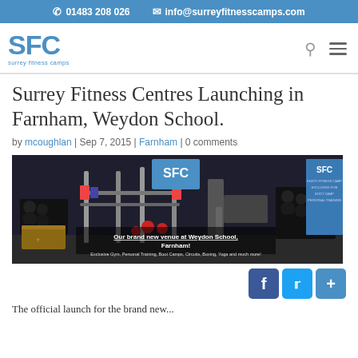📞 01483 208 026   ✉ info@surreyfitnesscamps.com
[Figure (logo): SFC Surrey Fitness Camps logo in blue]
Surrey Fitness Centres Launching in Farnham, Weydon School.
by mcoughlan | Sep 7, 2015 | Farnham | 0 comments
[Figure (photo): Interior photo of a gym at Weydon School, Farnham. Shows gym equipment, dumbbells, SFC branding banners. Overlay text reads: Our brand new venue at Weydon School, Farnham! Exclusive Gym, Personal Training, Boot Camps, Circuits, Boxing, Yoga and much more!]
The official launch for the brand new...